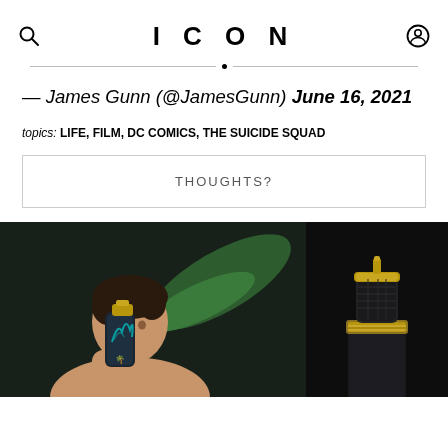ICON
— James Gunn (@JamesGunn) June 16, 2021
topics: LIFE, FILM, DC COMICS, THE SUICIDE SQUAD
THOUGHTS?
[Figure (photo): Two fragrance bottle product shots side by side: left shows a shirtless young man holding a dark perfume bottle with teal flame design and gold cap against a dark background with green foliage; right shows close-up of a dark bottle with ornate gold cap and decorative band.]